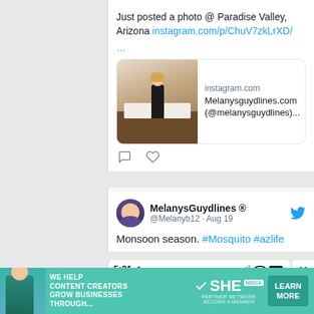Just posted a photo @ Paradise Valley, Arizona instagram.com/p/ChuV7zkLrXD/ …
[Figure (screenshot): Instagram link preview card showing a photo of a woman in a kitchen with text: instagram.com, Melanysguydlines.com (@melanysguydlines)...]
MelanysGuydlines ® @Melanyb12 · Aug 19
Monsoon season. #Mosquito #azlife
[Figure (screenshot): Screenshot of phone showing MelanysGuydlines.com post by Melany Berger at 5:21 with status bar icons]
[Figure (infographic): SHE Media partner network advertisement banner: WE HELP CONTENT CREATORS GROW BUSINESSES THROUGH... with LEARN MORE button]